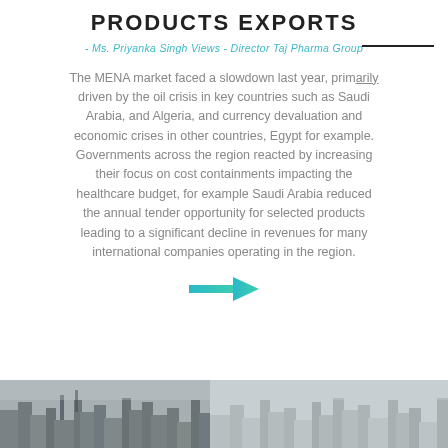PRODUCTS EXPORTS
- Ms. Priyanka Singh Views - Director Taj Pharma Group
The MENA market faced a slowdown last year, primarily driven by the oil crisis in key countries such as Saudi Arabia, and Algeria, and currency devaluation and economic crises in other countries, Egypt for example. Governments across the region reacted by increasing their focus on cost containments impacting the healthcare budget, for example Saudi Arabia reduced the annual tender opportunity for selected products leading to a significant decline in revenues for many international companies operating in the region.
[Figure (illustration): A teal/cyan arrow pointing to the right]
[Figure (photo): A panoramic photo strip at the bottom showing cityscape/skyline silhouettes in grayscale tones, split between a darker left portion and lighter right portion]